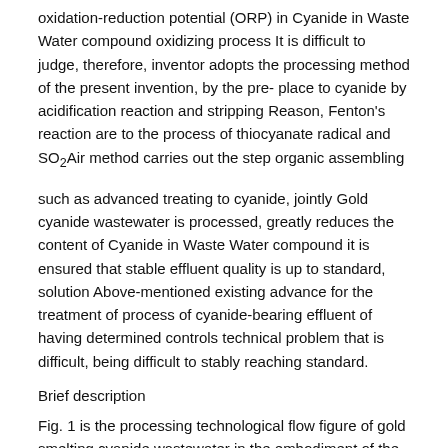oxidation-reduction potential (ORP) in Cyanide in Waste Water compound oxidizing process It is difficult to judge, therefore, inventor adopts the processing method of the present invention, by the pre- place to cyanide by acidification reaction and stripping Reason, Fenton's reaction are to the process of thiocyanate radical and SO₂Air method carries out the step organic assembling
such as advanced treating to cyanide, jointly Gold cyanide wastewater is processed, greatly reduces the content of Cyanide in Waste Water compound it is ensured that stable effluent quality is up to standard, solution Above-mentioned existing advance for the treatment of process of cyanide-bearing effluent of having determined controls technical problem that is difficult, being difficult to stably reaching standard.
Brief description
Fig. 1 is the processing technological flow figure of gold smelting cyanide wastewater in the embodiment of the present invention.
Specific embodiment